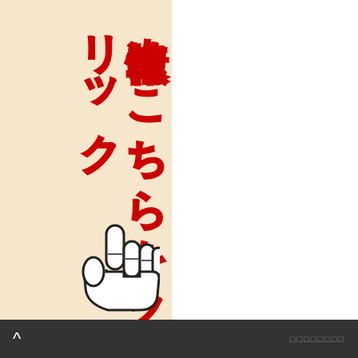[Figure (infographic): Japanese vertical banner with cream/beige background and red border. Large bold text in yellow with red outline reading '次情報は' and 'こちらをクリック' (meaning 'Next information is here, click here') written vertically. A pointing hand cursor icon is shown at the bottom. The banner is on the left half of the image, right half is white.]
▲  □□□□□□□□